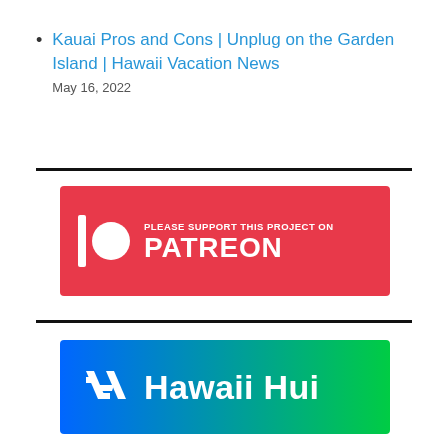Kauai Pros and Cons | Unplug on the Garden Island | Hawaii Vacation News
May 16, 2022
[Figure (logo): Patreon logo banner: red background with white Patreon icon (vertical bar + circle) and text 'PLEASE SUPPORT THIS PROJECT ON PATREON']
[Figure (logo): Hawaii Hui logo banner: blue-to-green gradient background with white stylized H icon and text 'Hawaii Hui']